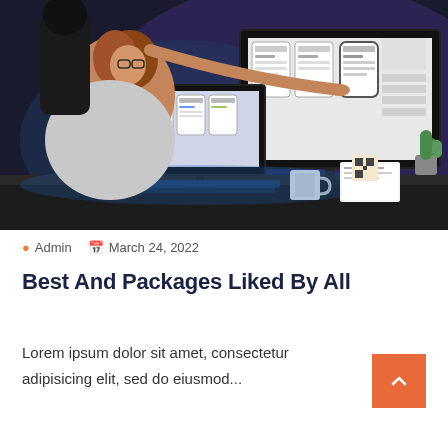[Figure (photo): Two people in a dark office looking at monitors displaying UI wireframes/mockups. A woman with glasses and auburn hair in a grey sweater sits at a desk with a keyboard and coffee mug, while another person stands behind pointing at a large monitor showing mobile app wireframes.]
Admin   March 24, 2022
Best And Packages Liked By All
Lorem ipsum dolor sit amet, consectetur adipisicing elit, sed do eiusmod...